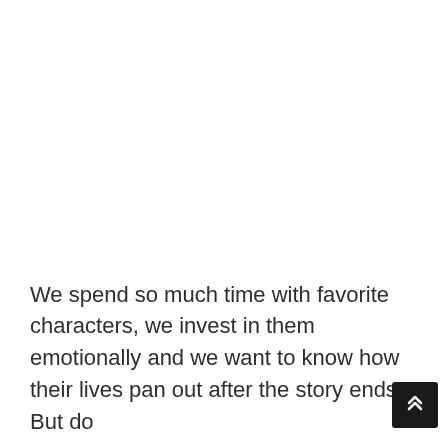We spend so much time with favorite characters, we invest in them emotionally and we want to know how their lives pan out after the story ends. But do